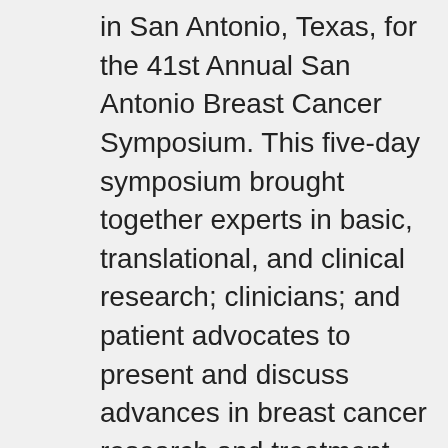in San Antonio, Texas, for the 41st Annual San Antonio Breast Cancer Symposium. This five-day symposium brought together experts in basic, translational, and clinical research; clinicians; and patient advocates to present and discuss advances in breast cancer research and treatment. As progress in breast cancer continues, the challenges remain: to personalize treatment based on characteristics of the cancer, to minimize over- and under-treatment, and to maximize quality of life. This article highlights several of the talks from the 2018 symposium that are most likely to have a direct impact on the clinical care of breast cancer patients. For access to complete symposium resources, including abstracts, posters, and